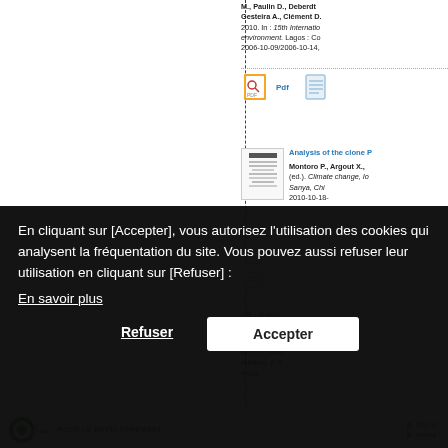M., Paulin D., Deberdt M., Gesteira A., Clément D. 2010. In : 15th International environment. Lagos : Co 2006-10-09/2006-10-14,
[Figure (other): PDF icon with Pdf link label and document icon]
[Figure (other): Document thumbnail image for reference item 'Analysis of the clone P...']
Analysis of the clone P
Montoro P., Argout X., (ed.). Climate change, Io Sanya, Chi 2010-10-18-...
[Figure (other): Document icon for second reference]
DB : A web se
Ruiz M., Rou earch Confer Alliance, p. 5 Rios).
[Figure (other): Site du and Annua links with red triangle bullets at bottom right]
En cliquant sur [Accepter], vous autorisez l'utilisation des cookies qui analysent la fréquentation du site. Vous pouvez aussi refuser leur utilisation en cliquant sur [Refuser] :
En savoir plus
Refuser
Accepter
CIRAD POUR LE DEVELOPPEMENT